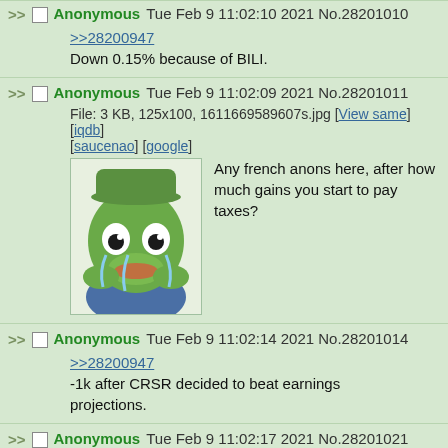>> Anonymous Tue Feb 9 11:02:10 2021 No.28201010
>>28200947
Down 0.15% because of BILI.
>> Anonymous Tue Feb 9 11:02:09 2021 No.28201011
File: 3 KB, 125x100, 1611669589607s.jpg [View same] [iqdb] [saucenao] [google]
Any french anons here, after how much gains you start to pay taxes?
>> Anonymous Tue Feb 9 11:02:14 2021 No.28201014
>>28200947
-1k after CRSR decided to beat earnings projections.
>> Anonymous Tue Feb 9 11:02:17 2021 No.28201021
>>28200898
Walk in from Mexico and download Robinhood